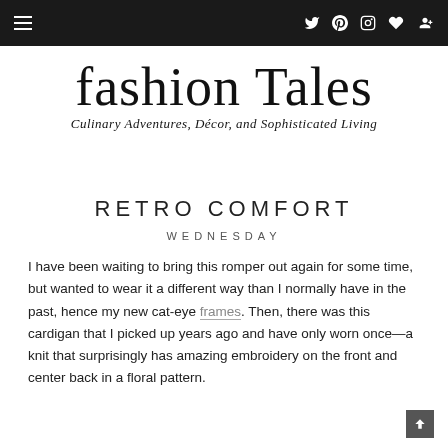Navigation bar with hamburger menu and social icons (Twitter, Pinterest, Instagram, Heart, Google+)
fashion Tales
Culinary Adventures, Décor, and Sophisticated Living
RETRO COMFORT
WEDNESDAY
I have been waiting to bring this romper out again for some time, but wanted to wear it a different way than I normally have in the past, hence my new cat-eye frames. Then, there was this cardigan that I picked up years ago and have only worn once—a knit that surprisingly has amazing embroidery on the front and center back in a floral pattern.